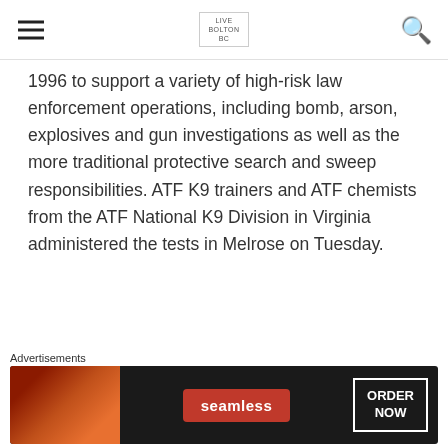LIVE BOLTON BC
1996 to support a variety of high-risk law enforcement operations, including bomb, arson, explosives and gun investigations as well as the more traditional protective search and sweep responsibilities. ATF K9 trainers and ATF chemists from the ATF National K9 Division in Virginia administered the tests in Melrose on Tuesday.
Sources: atf.gov
[Figure (photo): Two side-by-side thumbnail photos below article content]
[Figure (infographic): Advertisement banner for Seamless food ordering with pizza image, Seamless logo, and ORDER NOW button]